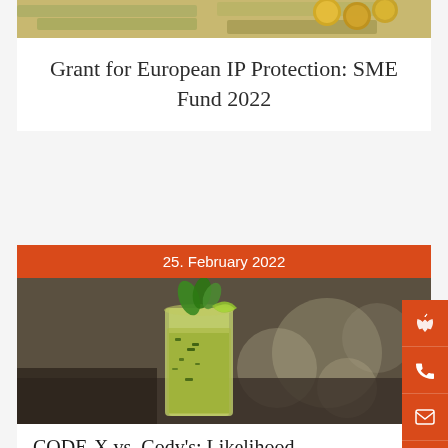[Figure (photo): Partial view of coins and euro banknotes at the top of the first article card]
Grant for European IP Protection: SME Fund 2022
25. February 2022
[Figure (photo): Photo of a tall glass of mojito cocktail with mint leaves and lime wedge, blurred background]
CODE-X vs. Cody's: Likelihood of confusion?